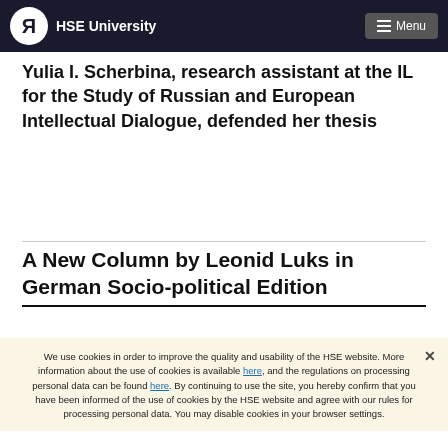HSE University  Menu
Yulia I. Scherbina, research assistant at the IL for the Study of Russian and European Intellectual Dialogue, defended her thesis
A New Column by Leonid Luks in German Socio-political Edition
We use cookies in order to improve the quality and usability of the HSE website. More information about the use of cookies is available here, and the regulations on processing personal data can be found here. By continuing to use the site, you hereby confirm that you have been informed of the use of cookies by the HSE website and agree with our rules for processing personal data. You may disable cookies in your browser settings.